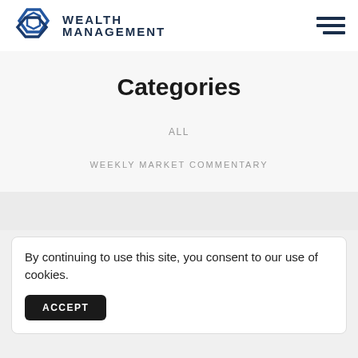Wealth Management
Categories
ALL
WEEKLY MARKET COMMENTARY
By continuing to use this site, you consent to our use of cookies.
ACCEPT